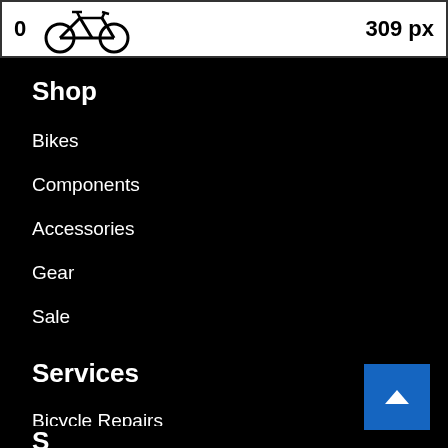[Figure (screenshot): Top bar showing a bicycle icon with '0' on the left and '309 px' on the right, white background with border]
Shop
Bikes
Components
Accessories
Gear
Sale
Services
Bicycle Repairs
Bike Fitting
Bicycle Financing
S…